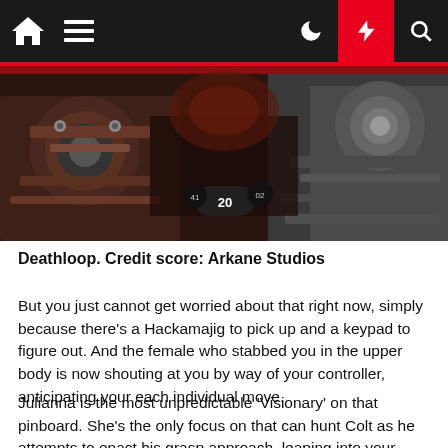[Figure (screenshot): Screenshot from the video game Deathloop showing first-person view with weapons visible on both sides of the screen and a HUD showing ammo count (20) in a dark environment.]
Deathloop. Credit score: Arkane Studios
But you just cannot get worried about that right now, simply because there's a Hackamajig to pick up and a keypad to figure out. And the female who stabbed you in the upper body is now shouting at you by way of your controller, anticipating your each individual move.
Julianna is the most unpredictable 'Visionary' on that pinboard. She's the only focus on that can hunt Colt as he attempts to enact his grasp approach, leaping into your activity to lock the doorways to your safehouse, just before shelling out quite a few